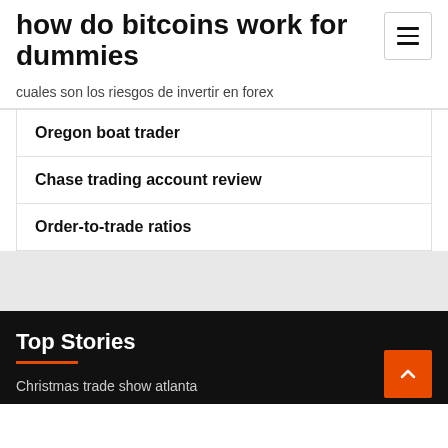how do bitcoins work for dummies
cuales son los riesgos de invertir en forex
Oregon boat trader
Chase trading account review
Order-to-trade ratios
Top Stories
Christmas trade show atlanta